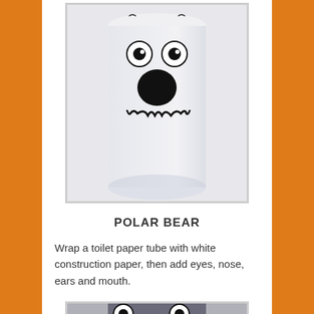[Figure (photo): A white toilet paper tube crafted to look like a polar bear. The tube is wrapped in white paper with a cartoon bear face drawn on it: large round eyes, a big black nose, and a wide grinning mouth with jagged teeth. Small ear details are visible at the top.]
POLAR BEAR
Wrap a toilet paper tube with white construction paper, then add eyes, nose, ears and mouth.
[Figure (photo): Partial view of another toilet paper tube craft at the bottom of the page, partially cut off.]